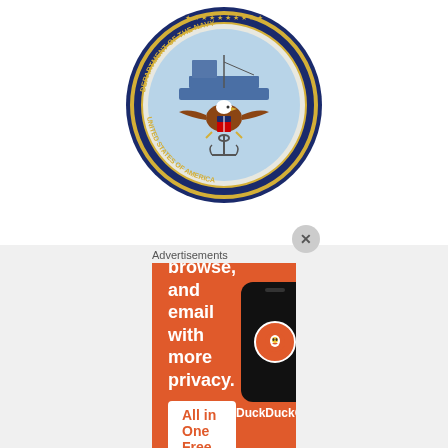[Figure (logo): Seal of the Department of the Navy, United States of America — circular emblem with eagle, ship, and gold border on navy blue background]
mobilization/2+0 standards and improve upon conditions from Q4 to Q1 in support of the elimination of Q4 bachelor quarters.  Under this contract, the contractor will be required to renovate and make upgrades such that all major building systems meet current code requirements and anti-terrorism/force-protection standards including redesigning of parking, new fire lane, upgraded electrical
[Figure (screenshot): DuckDuckGo advertisement banner on orange background: 'Search, browse, and email with more privacy. All in One Free App' with phone graphic and DuckDuckGo logo]